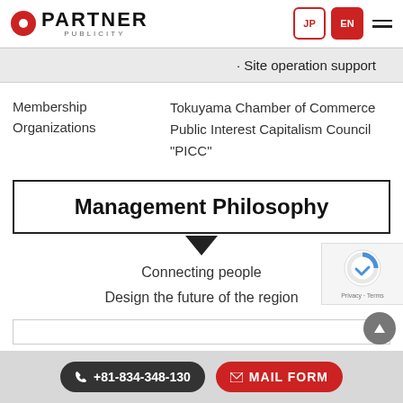PARTNER PUBLICITY — JP / EN navigation
• Site operation support
Membership Organizations
Tokuyama Chamber of Commerce
Public Interest Capitalism Council "PICC"
Management Philosophy
Connecting people
Design the future of the region
+81-834-348-130   MAIL FORM